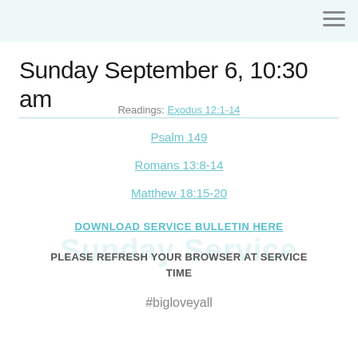Sunday September 6, 10:30 am
Readings: Exodus 12:1-14
Psalm 149
Romans 13:8-14
Matthew 18:15-20
DOWNLOAD SERVICE BULLETIN HERE
PLEASE REFRESH YOUR BROWSER AT SERVICE TIME
#bigloveyall